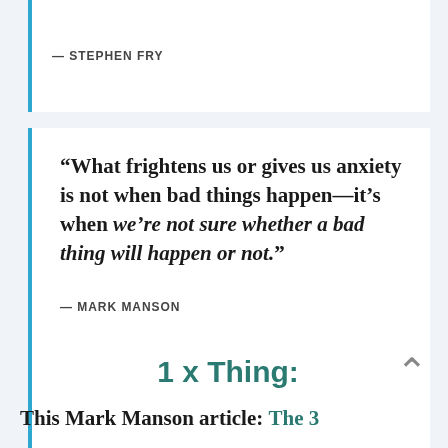— STEPHEN FRY
“What frightens us or gives us anxiety is not when bad things happen—it’s when we’re not sure whether a bad thing will happen or not.”
— MARK MANSON
1 x Thing:
This Mark Manson article: The 3